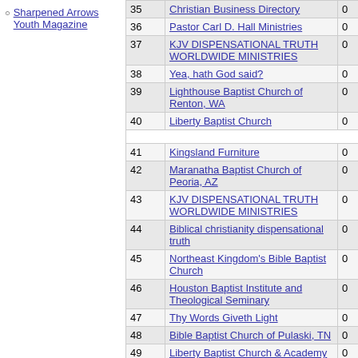Sharpened Arrows Youth Magazine
| # | Name | 0 | 0 |
| --- | --- | --- | --- |
| 35 | Christian Business Directory | 0 | 0 |
| 36 | Pastor Carl D. Hall Ministries | 0 | 16 |
| 37 | KJV DISPENSATIONAL TRUTH WORLDWIDE MINISTRIES | 0 | 0 |
| 38 | Yea, hath God said? | 0 | 0 |
| 39 | Lighthouse Baptist Church of Renton, WA | 0 | 0 |
| 40 | Liberty Baptist Church | 0 | 0 |
| 41 | Kingsland Furniture | 0 | 0 |
| 42 | Maranatha Baptist Church of Peoria, AZ | 0 | 0 |
| 43 | KJV DISPENSATIONAL TRUTH WORLDWIDE MINISTRIES | 0 | 0 |
| 44 | Biblical christianity dispensational truth | 0 | 0 |
| 45 | Northeast Kingdom's Bible Baptist Church | 0 | 0 |
| 46 | Houston Baptist Institute and Theological Seminary | 0 | 0 |
| 47 | Thy Words Giveth Light | 0 | 0 |
| 48 | Bible Baptist Church of Pulaski, TN | 0 | 0 |
| 49 | Liberty Baptist Church & Academy | 0 | 0 |
| 50 | FAITH Christian Jewelry | 0 | 0 |
| 51 | Northside Baptist Church | 0 | 0 |
| 52 | Elmira Baptist Church | 0 | 0 |
| 53 | Lighthouse Baptist Church-Columbus, MS | 0 | 0 |